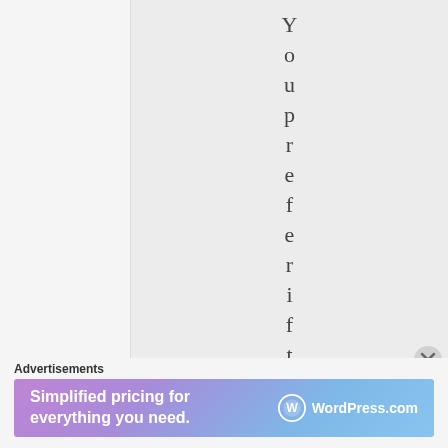Y o u p r e f e r i f t h
Advertisements
[Figure (screenshot): WordPress.com advertisement banner: 'Simplified pricing for everything you need.' with WordPress.com logo on gradient background]